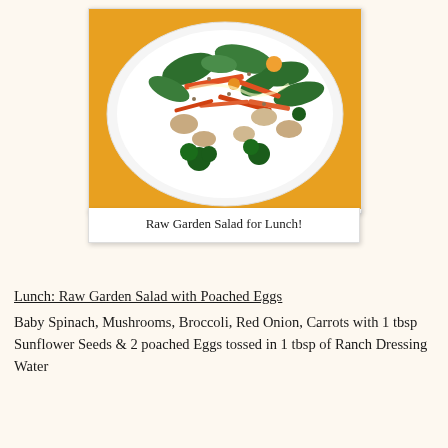[Figure (photo): A white plate on a yellow tablecloth filled with a raw garden salad containing baby spinach, mushrooms, broccoli, shredded carrots, and other vegetables with dressing]
Raw Garden Salad for Lunch!
Lunch: Raw Garden Salad with Poached Eggs
Baby Spinach, Mushrooms, Broccoli, Red Onion, Carrots with 1 tbsp Sunflower Seeds & 2 poached Eggs tossed in 1 tbsp of Ranch Dressing
Water